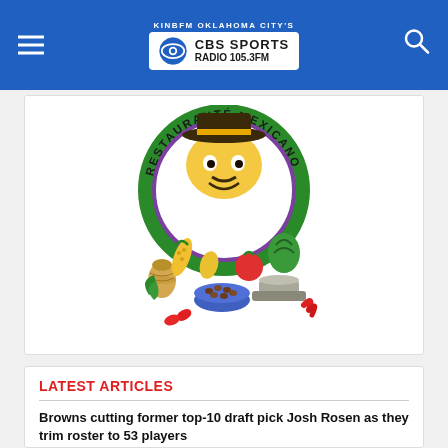KINBFM OKLAHOMA CITY'S CBS SPORTS RADIO 105.3FM
[Figure (logo): Restaurante Mexicano circular logo with colorful illustration of Mexican food items including corn, peppers, tomatoes, beans in a blue bowl, a clay pot, and other ingredients. Green circle border with purple and green text reading RESTAURANTE MEXICANO.]
LATEST ARTICLES
Browns cutting former top-10 draft pick Josh Rosen as they trim roster to 53 players